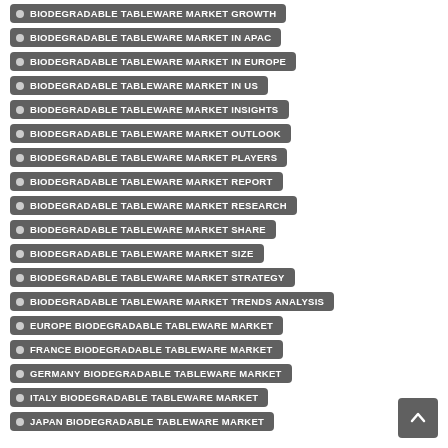BIODEGRADABLE TABLEWARE MARKET GROWTH
BIODEGRADABLE TABLEWARE MARKET IN APAC
BIODEGRADABLE TABLEWARE MARKET IN EUROPE
BIODEGRADABLE TABLEWARE MARKET IN US
BIODEGRADABLE TABLEWARE MARKET INSIGHTS
BIODEGRADABLE TABLEWARE MARKET OUTLOOK
BIODEGRADABLE TABLEWARE MARKET PLAYERS
BIODEGRADABLE TABLEWARE MARKET REPORT
BIODEGRADABLE TABLEWARE MARKET RESEARCH
BIODEGRADABLE TABLEWARE MARKET SHARE
BIODEGRADABLE TABLEWARE MARKET SIZE
BIODEGRADABLE TABLEWARE MARKET STRATEGY
BIODEGRADABLE TABLEWARE MARKET TRENDS ANALYSIS
EUROPE BIODEGRADABLE TABLEWARE MARKET
FRANCE BIODEGRADABLE TABLEWARE MARKET
GERMANY BIODEGRADABLE TABLEWARE MARKET
ITALY BIODEGRADABLE TABLEWARE MARKET
JAPAN BIODEGRADABLE TABLEWARE MARKET